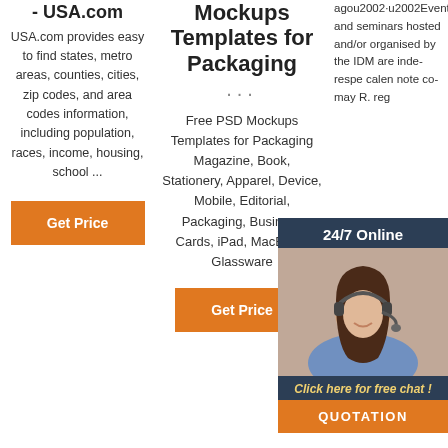- USA.com
USA.com provides easy to find states, metro areas, counties, cities, zip codes, and area codes information, including population, races, income, housing, school ...
[Figure (other): Orange 'Get Price' button - column 1]
Mockups Templates for Packaging
...
Free PSD Mockups Templates for Packaging Magazine, Book, Stationery, Apparel, Device, Mobile, Editorial, Packaging, Business Cards, iPad, MacBook, Glassware
[Figure (other): Orange 'Get Price' button - column 2]
agou2002·u2002Events and seminars hosted and/or organised by the IDM are independently resp... calend... note co... may... R... reg...
[Figure (other): 24/7 Online chat widget with woman in headset, 'Click here for free chat!' link, and QUOTATION button]
[Figure (other): Orange partial 'G...' button - column 3]
[Figure (other): TOP arrow icon in orange dots style]